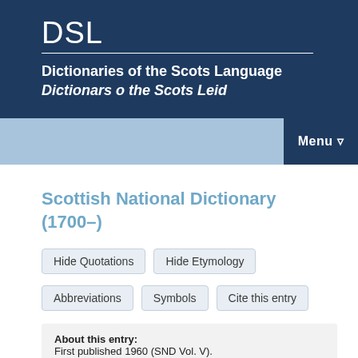DSL
Dictionaries of the Scots Language
Dictionars o the Scots Leid
Menu
Scottish National Dictionary (1700–)
Hide Quotations   Hide Etymology
Abbreviations   Symbols   Cite this entry
About this entry:
First published 1960 (SND Vol. V).